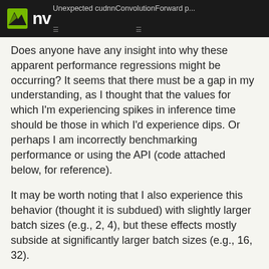Unexpected cudnnConvolutionForward p...
Does anyone have any insight into why these apparent performance regressions might be occurring? It seems that there must be a gap in my understanding, as I thought that the values for which I'm experiencing spikes in inference time should be those in which I'd experience dips. Or perhaps I am incorrectly benchmarking performance or using the API (code attached below, for reference).
It may be worth noting that I also experience this behavior (thought it is subdued) with slightly larger batch sizes (e.g., 2, 4), but these effects mostly subside at significantly larger batch sizes (e.g., 16, 32).
Additionally, all convolutions report using algorithm CUDNN_CONVOLUTION_FWD_ALGO_IMPLICIT_GEMM after using cudnnFindConvolutionForwardAlgorithm. I have also experienced the same behavior described above when using the heuristic selection (which selects CUDNN_CONVOLUTION_FWD_ALGO_IMPLICIT_PRECOM